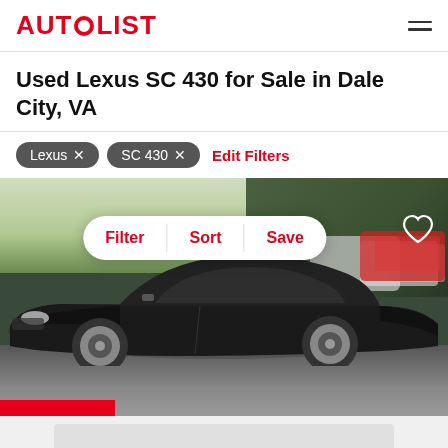AUTOLIST
Used Lexus SC 430 for Sale in Dale City, VA
Lexus ×  SC 430 ×  Edit Filters
[Figure (photo): Photo of a black Lexus SC 430 convertible parked in a lot, with green trees and other cars in background. Overlay shows Filter, Sort, Save pill button and a heart icon. Red ribbon at bottom left corner.]